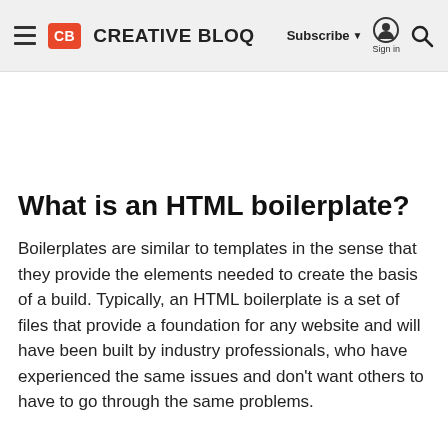CB CREATIVE BLOQ — Subscribe Sign in [search]
What is an HTML boilerplate?
Boilerplates are similar to templates in the sense that they provide the elements needed to create the basis of a build. Typically, an HTML boilerplate is a set of files that provide a foundation for any website and will have been built by industry professionals, who have experienced the same issues and don't want others to have to go through the same problems.